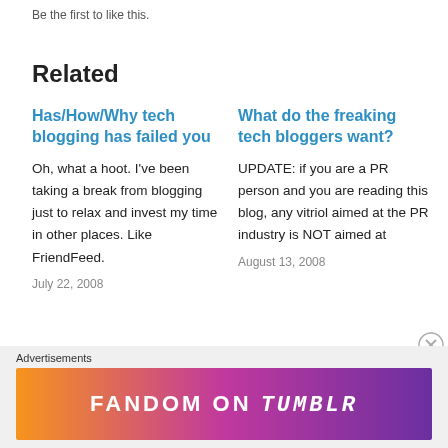Be the first to like this.
Related
Has/How/Why tech blogging has failed you
Oh, what a hoot. I've been taking a break from blogging just to relax and invest my time in other places. Like FriendFeed.
July 22, 2008
What do the freaking tech bloggers want?
UPDATE: if you are a PR person and you are reading this blog, any vitriol aimed at the PR industry is NOT aimed at
August 13, 2008
Advertisements
[Figure (other): Fandom on Tumblr advertisement banner with colorful gradient background]